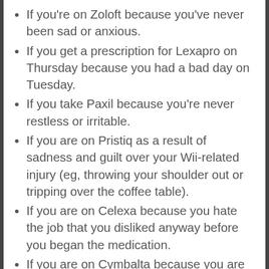If you're on Zoloft because you've never been sad or anxious.
If you get a prescription for Lexapro on Thursday because you had a bad day on Tuesday.
If you take Paxil because you're never restless or irritable.
If you are on Pristiq as a result of sadness and guilt over your Wii-related injury (eg, throwing your shoulder out or tripping over the coffee table).
If you are on Celexa because you hate the job that you disliked anyway before you began the medication.
If you are on Cymbalta because you are tired after normal long, exhausting days at your job(s).